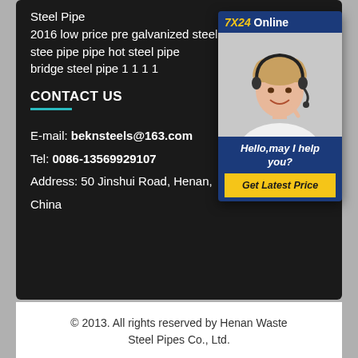Steel Pipe
2016 low price pre galvanized steel pipe from china
stee pipe pipe hot steel pipe
bridge steel pipe 1 1 1 1
CONTACT US
E-mail: beknsteels@163.com
Tel: 0086-13569929107
Address: 50 Jinshui Road, Henan, China
[Figure (photo): Customer service representative wearing headset smiling, with 7X24 Online label and Hello,may I help you? text and Get Latest Price button]
© 2013. All rights reserved by Henan Waste Steel Pipes Co., Ltd.